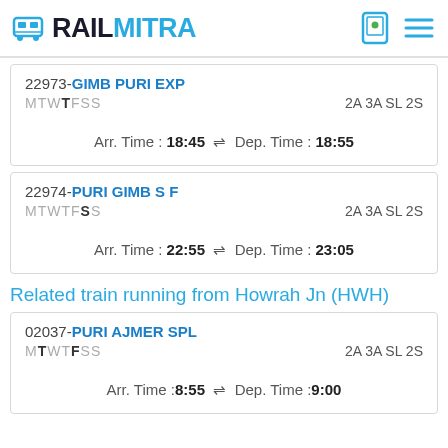RAILMITRA
22973-GIMB PURI EXP MTWTFSS 2A 3A SL 2S Arr. Time : 18:45 ⇌ Dep. Time : 18:55
22974-PURI GIMB S F MTWTFSS 2A 3A SL 2S Arr. Time : 22:55 ⇌ Dep. Time : 23:05
Related train running from Howrah Jn (HWH)
02037-PURI AJMER SPL MTWTFSS 2A 3A SL 2S Arr. Time :8:55 ⇌ Dep. Time :9:00